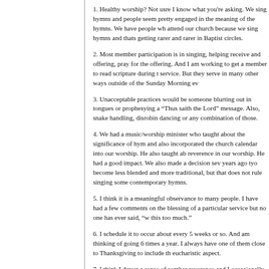1. Healthy worship? Not usre I know what you're asking. We sing hymns and people seem pretty engaged in the meaning of the hymns. We have people who attend our church because we sing hymns and thats getting rarer and rarer in Baptist circles.
2. Most member participation is in singing, helping receive and offering, pray for the offering. And I am working to get a member to read scripture during th service. But they serve in many other ways outside of the Sunday Morning ev
3. Unacceptable practices would be someone blurting out in tongues or prophesying a “Thus saith the Lord” message. Also, snake handling, disrobin dancing or any combination of those.
4. We had a music/worship minister who taught about the significance of hym and also incorporated the church calendar into our worship. He also taught ab reverence in our worship. He had a good impact. We also made a decision sev years ago tyo become less blended and more traditional, but that does not rule singing some contemporary hymns.
5. I think it is a meaningful observance to many people. I have had a few comments on the blessing of a particular service but no one has ever said, “w this too much.”
6. I schedule it to occur about every 5 weeks or so. And am thinking of going 6 times a year. I always have one of them close to Thanksgiving to include th eucharistic aspect.
7. I think I detect a sense of somber reverence and I occasionally try to help people rejoice more in the observance. But I believe a somber approach is appropriate, at least initially.
8. IT displays the Lord’s death till He comes. It reminds us of His substitutio sacrifice,and of our promised hope in celebrating it with the Lord someday.
9. The worship value for me includes remembering His admonition to remem Him and the Work of Christ.